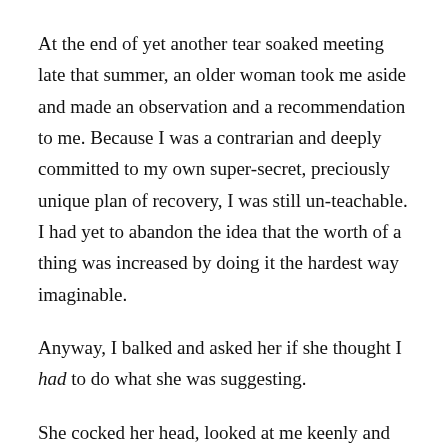At the end of yet another tear soaked meeting late that summer, an older woman took me aside and made an observation and a recommendation to me. Because I was a contrarian and deeply committed to my own super-secret, preciously unique plan of recovery, I was still un-teachable. I had yet to abandon the idea that the worth of a thing was increased by doing it the hardest way imaginable.
Anyway, I balked and asked her if she thought I had to do what she was suggesting.
She cocked her head, looked at me keenly and said,